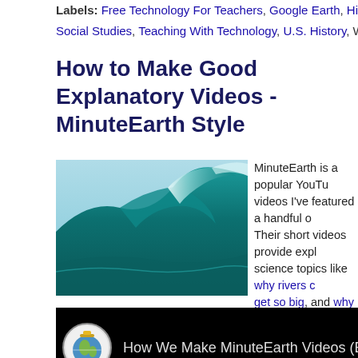Labels: Free Technology For Teachers, Google Earth, History, ho... Social Studies, Teaching With Technology, U.S. History, World H...
How to Make Good Explanatory Videos - MinuteEarth Style
[Figure (photo): Photograph of a large ocean wave with turquoise-green water cresting]
MinuteEarth is a popular YouTu... videos I've featured a handful o... Their short videos provide expl... science topics like why rivers c... get so big, and why it is hot un... back MinuteEarth published a v... their team uses to produce their...
[Figure (screenshot): Video embed showing MinuteEarth logo and title: How We Make MinuteEarth Videos (Behind th...]